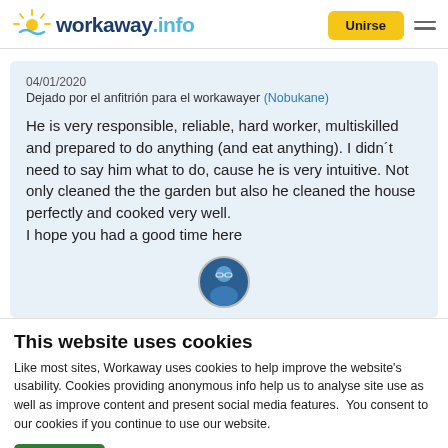[Figure (logo): Workaway.info logo with sun icon and blue/teal text]
Unirse
04/01/2020
Dejado por el anfitrión para el workawayer (Nobukane)
He is very responsible, reliable, hard worker, multiskilled and prepared to do anything (and eat anything). I didn´t need to say him what to do, cause he is very intuitive. Not only cleaned the the garden but also he cleaned the house perfectly and cooked very well.
I hope you had a good time here
[Figure (photo): Circular avatar photo of a person outdoors]
This website uses cookies
Like most sites, Workaway uses cookies to help improve the website's usability. Cookies providing anonymous info help us to analyse site use as well as improve content and present social media features.  You consent to our cookies if you continue to use our website.
OK
Settings